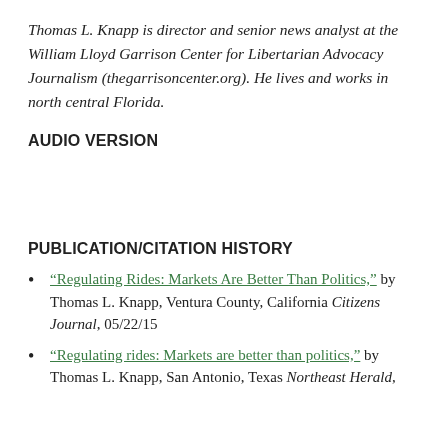Thomas L. Knapp is director and senior news analyst at the William Lloyd Garrison Center for Libertarian Advocacy Journalism (thegarrisoncenter.org). He lives and works in north central Florida.
AUDIO VERSION
PUBLICATION/CITATION HISTORY
"Regulating Rides: Markets Are Better Than Politics," by Thomas L. Knapp, Ventura County, California Citizens Journal, 05/22/15
"Regulating rides: Markets are better than politics," by Thomas L. Knapp, San Antonio, Texas Northeast Herald,